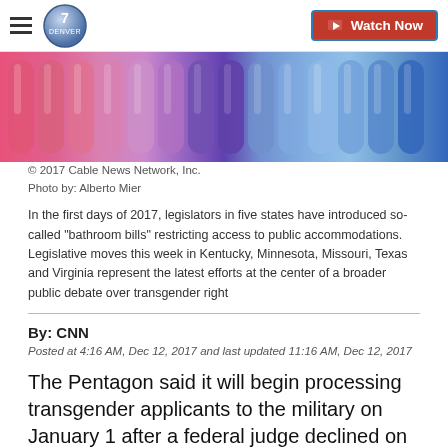Denver7 - Watch Now
[Figure (photo): Colorful gradient test tubes or pencils arranged in a row, transitioning from pink on the left through purple in the middle to blue on the right]
© 2017 Cable News Network, Inc.
Photo by: Alberto Mier
In the first days of 2017, legislators in five states have introduced so-called "bathroom bills" restricting access to public accommodations. Legislative moves this week in Kentucky, Minnesota, Missouri, Texas and Virginia represent the latest efforts at the center of a broader public debate over transgender right
By: CNN
Posted at 4:16 AM, Dec 12, 2017 and last updated 11:16 AM, Dec 12, 2017
The Pentagon said it will begin processing transgender applicants to the military on January 1 after a federal judge declined on Monday to put the deadline on hold